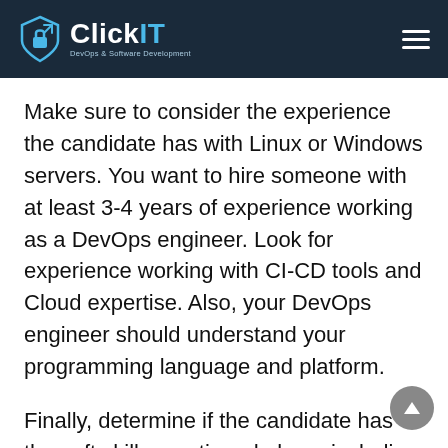ClickIT — DevOps & Software Development
Make sure to consider the experience the candidate has with Linux or Windows servers. You want to hire someone with at least 3-4 years of experience working as a DevOps engineer. Look for experience working with CI-CD tools and Cloud expertise. Also, your DevOps engineer should understand your programming language and platform.
Finally, determine if the candidate has the soft skills mentioned above including communication, collaboration, the energy to change the SDLC within your tech team, and the ability to motivate